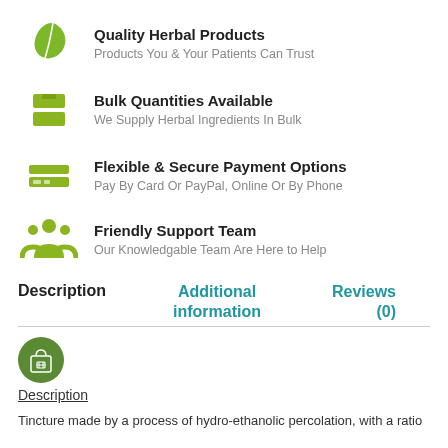Quality Herbal Products
Products You & Your Patients Can Trust
Bulk Quantities Available
We Supply Herbal Ingredients In Bulk
Flexible & Secure Payment Options
Pay By Card Or PayPal, Online Or By Phone
Friendly Support Team
Our Knowledgable Team Are Here to Help
Description   Additional information   Reviews (0)
[Figure (illustration): Green circular icon with a shopping bag]
Description
Tincture made by a process of hydro-ethanolic percolation, with a ratio